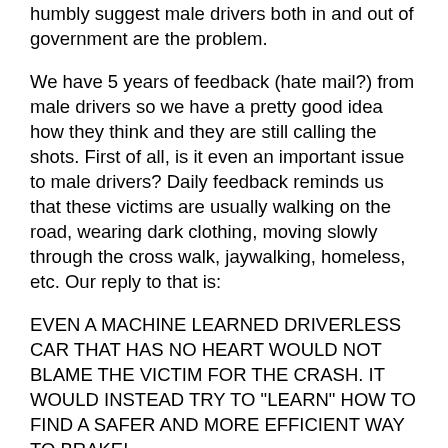humbly suggest male drivers both in and out of government are the problem.
We have 5 years of feedback (hate mail?) from male drivers so we have a pretty good idea how they think and they are still calling the shots. First of all, is it even an important issue to male drivers? Daily feedback reminds us that these victims are usually walking on the road, wearing dark clothing, moving slowly through the cross walk, jaywalking, homeless, etc. Our reply to that is:
EVEN A MACHINE LEARNED DRIVERLESS CAR THAT HAS NO HEART WOULD NOT BLAME THE VICTIM FOR THE CRASH. IT WOULD INSTEAD TRY TO "LEARN" HOW TO FIND A SAFER AND MORE EFFICIENT WAY TO BRAKE!
Speaking of technology, many say it will save us and therefore those in charge of saving these lives don't need to do anything now, but with